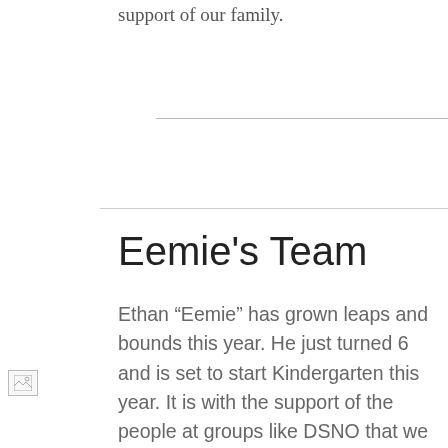support of our family.
Eemie's Team
Ethan “Eemie” has grown leaps and bounds this year. He just turned 6 and is set to start Kindergarten this year. It is with the support of the people at groups like DSNO that we have been able to gi…
[Figure (photo): Broken/loading image placeholder in left sidebar]